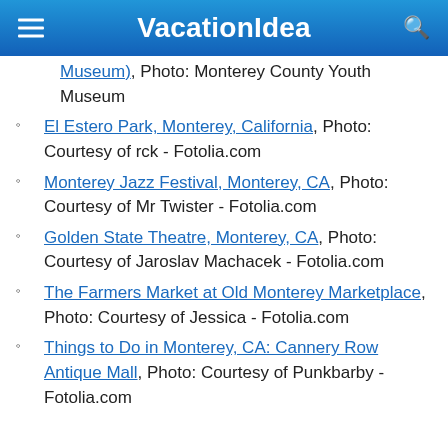VacationIdea
Museum), Photo: Monterey County Youth Museum
El Estero Park, Monterey, California, Photo: Courtesy of rck - Fotolia.com
Monterey Jazz Festival, Monterey, CA, Photo: Courtesy of Mr Twister - Fotolia.com
Golden State Theatre, Monterey, CA, Photo: Courtesy of Jaroslav Machacek - Fotolia.com
The Farmers Market at Old Monterey Marketplace, Photo: Courtesy of Jessica - Fotolia.com
Things to Do in Monterey, CA: Cannery Row Antique Mall, Photo: Courtesy of Punkbarby - Fotolia.com